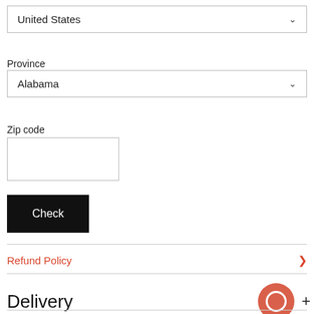[Figure (screenshot): Dropdown select showing 'United States' with chevron]
Province
[Figure (screenshot): Dropdown select showing 'Alabama' with chevron]
Zip code
[Figure (screenshot): Empty text input box for zip code]
[Figure (screenshot): Black 'Check' button]
Refund Policy
Delivery